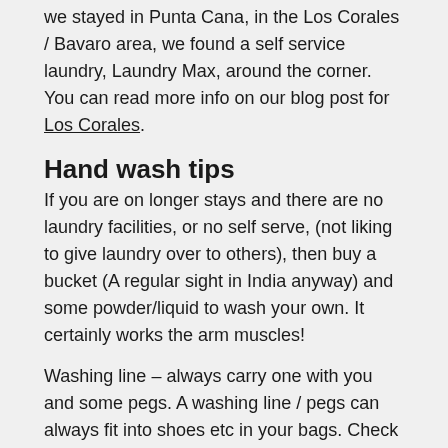we stayed in Punta Cana, in the Los Corales / Bavaro area, we found a self service laundry, Laundry Max, around the corner. You can read more info on our blog post for Los Corales.
Hand wash tips
If you are on longer stays and there are no laundry facilities, or no self serve, (not liking to give laundry over to others), then buy a bucket (A regular sight in India anyway) and some powder/liquid to wash your own. It certainly works the arm muscles!
Washing line – always carry one with you and some pegs. A washing line / pegs can always fit into shoes etc in your bags. Check more information on my (Miko's) travel tips on practical packing.